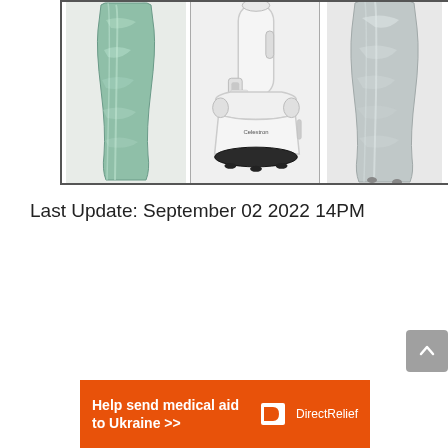[Figure (photo): Three product images side by side in a bordered box: left shows a silver/teal crinkled protective cover or bag, center shows a white Dobsonian telescope on a black base, right shows a silver dust cover or bag.]
Last Update: September 02 2022 14PM
[Figure (other): Scroll-to-top button (gray rounded rectangle with upward arrow chevron)]
[Figure (other): Orange advertisement banner: 'Help send medical aid to Ukraine >>' with Direct Relief logo (white box icon and text 'Direct Relief')]